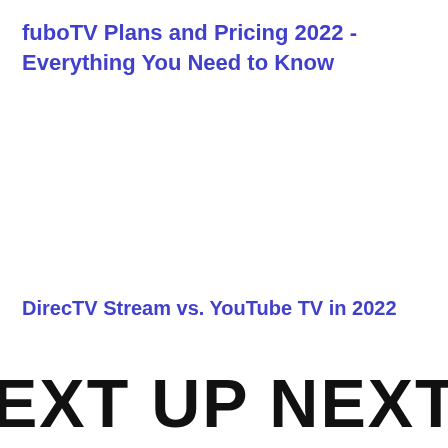fuboTV Plans and Pricing 2022 - Everything You Need to Know
DirecTV Stream vs. YouTube TV in 2022
NEXT UP  NEXT UP  N